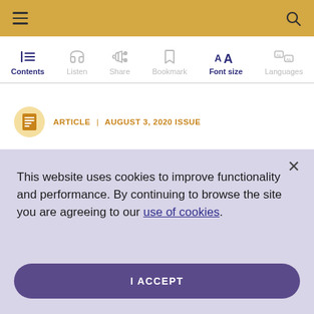Navigation bar with hamburger menu and search icon
[Figure (screenshot): Toolbar with icons: Contents (active), Listen, Share, Bookmark, Font size (active/bold), Languages]
ARTICLE | AUGUST 3, 2020 ISSUE
This website uses cookies to improve functionality and performance. By continuing to browse the site you are agreeing to our use of cookies.
I ACCEPT